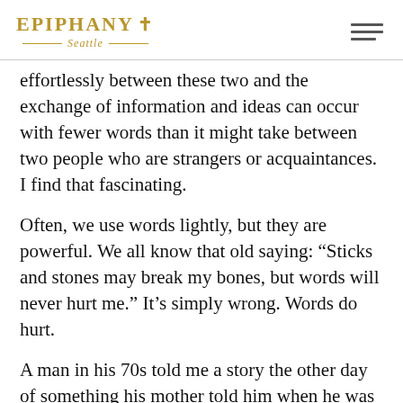Epiphany Seattle
effortlessly between these two and the exchange of information and ideas can occur with fewer words than it might take between two people who are strangers or acquaintances. I find that fascinating.
Often, we use words lightly, but they are powerful. We all know that old saying: “Sticks and stones may break my bones, but words will never hurt me.” It’s simply wrong. Words do hurt.
A man in his 70s told me a story the other day of something his mother told him when he was a boy. It was hurtful and it was wrong and she